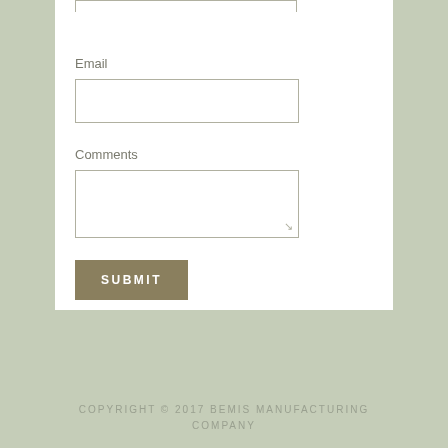[Figure (screenshot): A web form snippet showing Email and Comments input fields with a Submit button, on a white background panel, with a muted green-grey page background and copyright footer.]
Email
Comments
SUBMIT
COPYRIGHT © 2017 BEMIS MANUFACTURING COMPANY